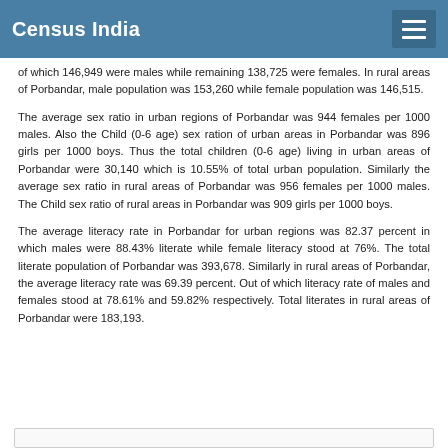Census India
of which 146,949 were males while remaining 138,725 were females. In rural areas of Porbandar, male population was 153,260 while female population was 146,515.
The average sex ratio in urban regions of Porbandar was 944 females per 1000 males. Also the Child (0-6 age) sex ration of urban areas in Porbandar was 896 girls per 1000 boys. Thus the total children (0-6 age) living in urban areas of Porbandar were 30,140 which is 10.55% of total urban population. Similarly the average sex ratio in rural areas of Porbandar was 956 females per 1000 males. The Child sex ratio of rural areas in Porbandar was 909 girls per 1000 boys.
The average literacy rate in Porbandar for urban regions was 82.37 percent in which males were 88.43% literate while female literacy stood at 76%. The total literate population of Porbandar was 393,678. Similarly in rural areas of Porbandar, the average literacy rate was 69.39 percent. Out of which literacy rate of males and females stood at 78.61% and 59.82% respectively. Total literates in rural areas of Porbandar were 183,193.